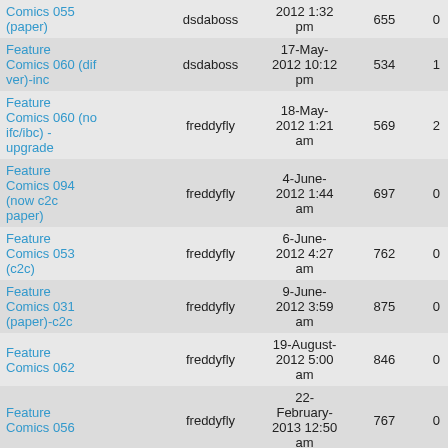| Title | User | Date | Views | Replies |
| --- | --- | --- | --- | --- |
| Comics 055 (paper) | dsdaboss | 2012 1:32 pm | 655 | 0 |
| Feature Comics 060 (dif ver)-inc | dsdaboss | 17-May-2012 10:12 pm | 534 | 1 |
| Feature Comics 060 (no ifc/ibc) - upgrade | freddyfly | 18-May-2012 1:21 am | 569 | 2 |
| Feature Comics 094 (now c2c paper) | freddyfly | 4-June-2012 1:44 am | 697 | 0 |
| Feature Comics 053 (c2c) | freddyfly | 6-June-2012 4:27 am | 762 | 0 |
| Feature Comics 031 (paper)-c2c | freddyfly | 9-June-2012 3:59 am | 875 | 0 |
| Feature Comics 062 | freddyfly | 19-August-2012 5:00 am | 846 | 0 |
| Feature Comics 056 | freddyfly | 22-February-2013 12:50 am | 767 | 0 |
| Feature |  | 25-February- |  |  |